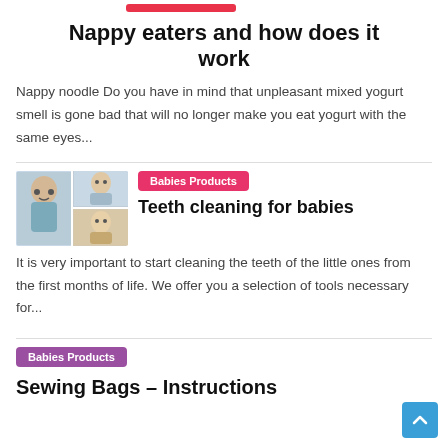[Figure (other): Red horizontal bar/tag above title]
Nappy eaters and how does it work
Nappy noodle Do you have in mind that unpleasant mixed yogurt smell is gone bad that will no longer make you eat yogurt with the same eyes...
[Figure (photo): Collage of two baby/toddler photos showing children brushing teeth]
Babies Products
Teeth cleaning for babies
It is very important to start cleaning the teeth of the little ones from the first months of life. We offer you a selection of tools necessary for...
Babies Products
Sewing Bags – Instructions